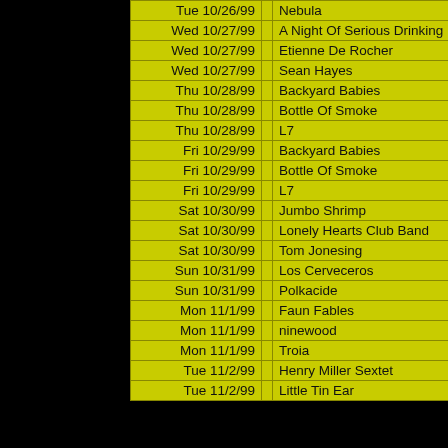| Date |  | Artist |
| --- | --- | --- |
| Wed 10/27/99 |  | A Night Of Serious Drinking |
| Wed 10/27/99 |  | Etienne De Rocher |
| Wed 10/27/99 |  | Sean Hayes |
| Thu 10/28/99 |  | Backyard Babies |
| Thu 10/28/99 |  | Bottle Of Smoke |
| Thu 10/28/99 |  | L7 |
| Fri 10/29/99 |  | Backyard Babies |
| Fri 10/29/99 |  | Bottle Of Smoke |
| Fri 10/29/99 |  | L7 |
| Sat 10/30/99 |  | Jumbo Shrimp |
| Sat 10/30/99 |  | Lonely Hearts Club Band |
| Sat 10/30/99 |  | Tom Jonesing |
| Sun 10/31/99 |  | Los Cerveceros |
| Sun 10/31/99 |  | Polkacide |
| Mon 11/1/99 |  | Faun Fables |
| Mon 11/1/99 |  | ninewood |
| Mon 11/1/99 |  | Troia |
| Tue 11/2/99 |  | Henry Miller Sextet |
| Tue 11/2/99 |  | Little Tin Ear |